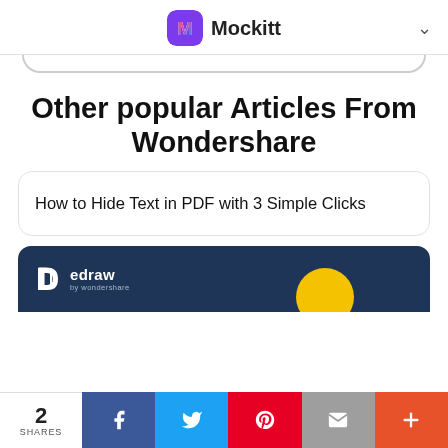Mockitt
Other popular Articles From Wondershare
How to Hide Text in PDF with 3 Simple Clicks
[Figure (logo): Edraw by Wondershare dark navy banner with logo and yellow circle accent]
2 SHARES | Facebook | Twitter | Pinterest | Email | More